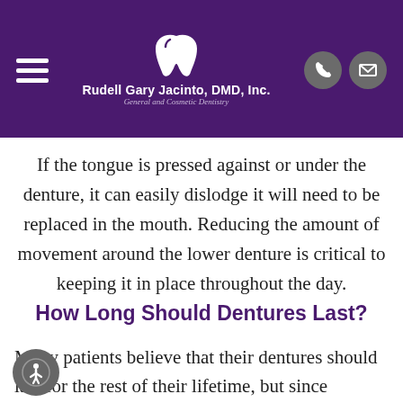Rudell Gary Jacinto, DMD, Inc. — General and Cosmetic Dentistry
If the tongue is pressed against or under the denture, it can easily dislodge it will need to be replaced in the mouth. Reducing the amount of movement around the lower denture is critical to keeping it in place throughout the day.
How Long Should Dentures Last?
Many patients believe that their dentures should last for the rest of their lifetime, but since dentures...